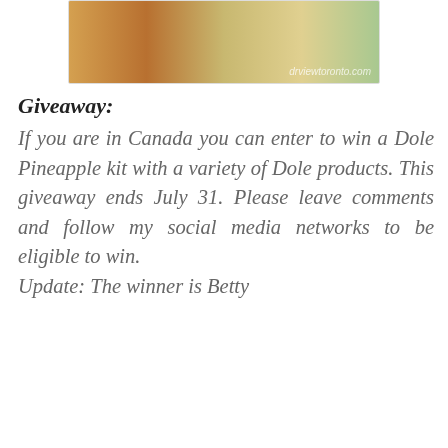[Figure (photo): Partial photo of Dole pineapple products with watermark 'drviewtoronto.com']
Giveaway:
If you are in Canada you can enter to win a Dole Pineapple kit with a variety of Dole products. This giveaway ends July 31. Please leave comments and follow my social media networks to be eligible to win. Update: The winner is Betty
| IT'S OVER! | 8 7 6 | 0/17 |
| --- | --- | --- |
| Dole Pineapple Kit |  |  |
| And the winner is |  |  |